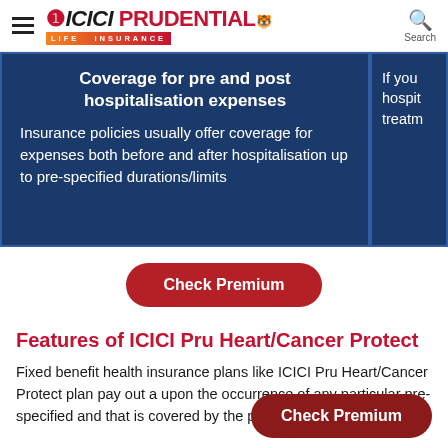ICICI PRUDENTIAL LIFE INSURANCE — Search
Coverage for pre and post hospitalisation expenses
Insurance policies usually offer coverage for expenses both before and after hospitalisation up to pre-specified durations/limits
If you hospit treatm
Check Premium
Features of ICICI Pru Heart/Cancer Protect
Fixed benefit health insurance plans like ICICI Pru Heart/Cancer Protect plan pay out a upon the occurrence of any particular pre-specified and that is covered by the policy. For instance,
Check Premium